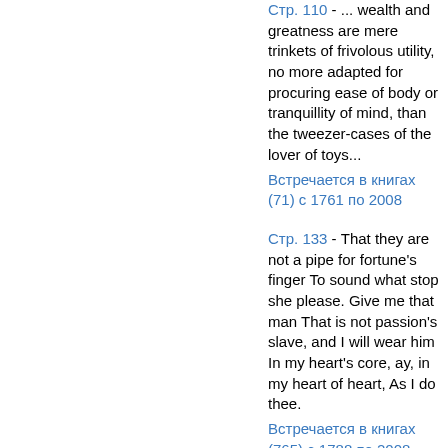Стр. 110 - ... wealth and greatness are mere trinkets of frivolous utility, no more adapted for procuring ease of body or tranquillity of mind, than the tweezer-cases of the lover of toys... Встречается в книгах (71) с 1761 по 2008
Стр. 133 - That they are not a pipe for fortune's finger To sound what stop she please. Give me that man That is not passion's slave, and I will wear him In my heart's core, ay, in my heart of heart, As I do thee. Встречается в книгах (765) с 1788 по 2008